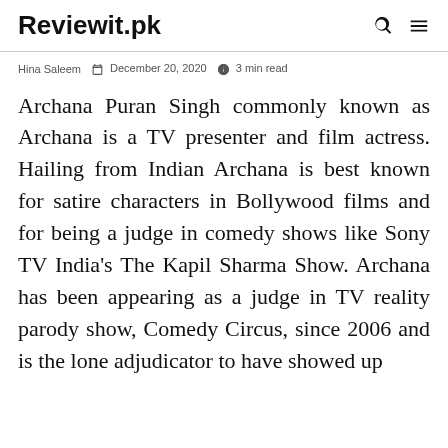Reviewit.pk
Hina Saleem   December 20, 2020   3 min read
Archana Puran Singh commonly known as Archana is a TV presenter and film actress. Hailing from Indian Archana is best known for satire characters in Bollywood films and for being a judge in comedy shows like Sony TV India's The Kapil Sharma Show. Archana has been appearing as a judge in TV reality parody show, Comedy Circus, since 2006 and is the lone adjudicator to have showed up